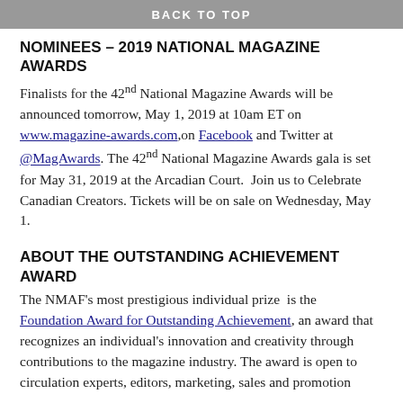BACK TO TOP
NOMINEES – 2019 NATIONAL MAGAZINE AWARDS
Finalists for the 42nd National Magazine Awards will be announced tomorrow, May 1, 2019 at 10am ET on www.magazine-awards.com,on Facebook and Twitter at @MagAwards. The 42nd National Magazine Awards gala is set for May 31, 2019 at the Arcadian Court.  Join us to Celebrate Canadian Creators. Tickets will be on sale on Wednesday, May 1.
ABOUT THE OUTSTANDING ACHIEVEMENT AWARD
The NMAF's most prestigious individual prize  is the Foundation Award for Outstanding Achievement, an award that recognizes an individual's innovation and creativity through contributions to the magazine industry. The award is open to circulation experts, editors, marketing, sales and promotion